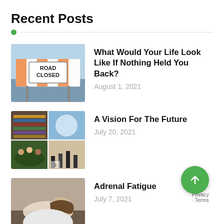Recent Posts
What Would Your Life Look Like If Nothing Held You Back? — August 1, 2021
A Vision For The Future — July 20, 2021
Adrenal Fatigue — July 7, 2021
What Pain Is Telling You